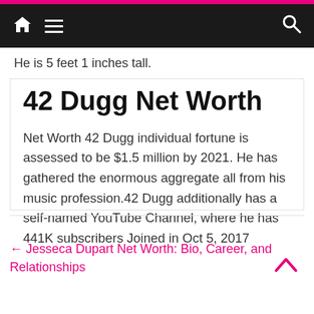Navigation bar with home, menu, and search icons
He is 5 feet 1 inches tall.
42 Dugg Net Worth
Net Worth 42 Dugg individual fortune is assessed to be $1.5 million by 2021. He has gathered the enormous aggregate all from his music profession.42 Dugg additionally has a self-named YouTube Channel, where he has 441K subscribers Joined in Oct 5, 2017
← Jesseca Dupart Net Worth: Bio, Career, and Relationships